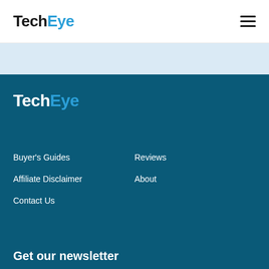TechEye
[Figure (logo): TechEye logo in footer — 'Tech' in white, 'Eye' in blue]
Buyer's Guides
Reviews
Affiliate Disclaimer
About
Contact Us
Get our newsletter